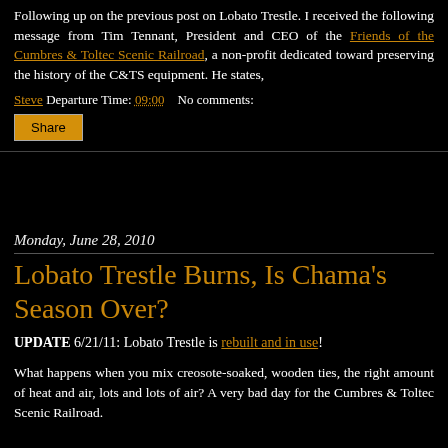Following up on the previous post on Lobato Trestle. I received the following message from Tim Tennant, President and CEO of the Friends of the Cumbres & Toltec Scenic Railroad, a non-profit dedicated toward preserving the history of the C&TS equipment. He states,
Steve Departure Time: 09:00   No comments:
Share
Monday, June 28, 2010
Lobato Trestle Burns, Is Chama's Season Over?
UPDATE 6/21/11: Lobato Trestle is rebuilt and in use!
What happens when you mix creosote-soaked, wooden ties, the right amount of heat and air, lots and lots of air? A very bad day for the Cumbres & Toltec Scenic Railroad.